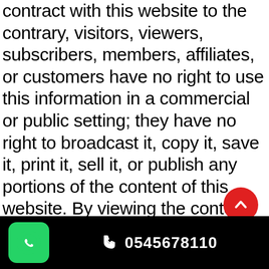contract with this website to the contrary, visitors, viewers, subscribers, members, affiliates, or customers have no right to use this information in a commercial or public setting; they have no right to broadcast it, copy it, save it, print it, sell it, or publish any portions of the content of this website. By viewing the contents of this website you agree on this condition of viewing and you acknowledge that any unauthorized use is unlawful and may subject you to civil or criminal penalties. Again, Visitor has no rights whatsoever to use the content of, or portions thereof, including its
0545678110